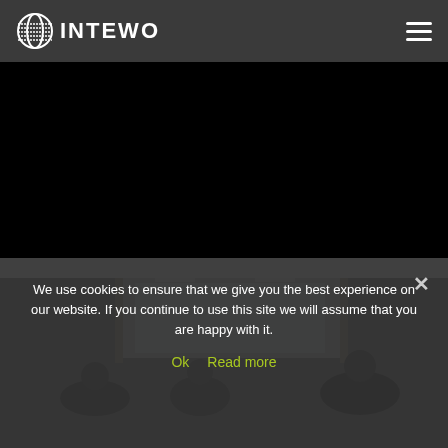INTEWO
[Figure (screenshot): Black video placeholder area]
[Figure (photo): Office scene with people in a room]
We use cookies to ensure that we give you the best experience on our website. If you continue to use this site we will assume that you are happy with it.
Ok   Read more